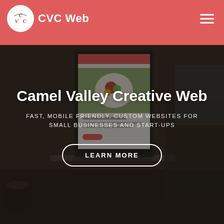CVC Web
[Figure (screenshot): Dark-themed hero background showing a laptop with a food website on screen, surrounded by dark atmospheric photography]
Camel Valley Creative Web
FAST, MOBILE FRIENDLY, CUSTOM WEBSITES FOR SMALL BUSINESSES AND START-UPS
LEARN MORE